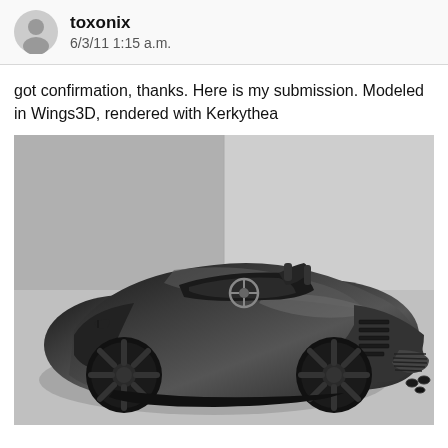toxonix
6/3/11 1:15 a.m.
got confirmation, thanks. Here is my submission. Modeled in Wings3D, rendered with Kerkythea
[Figure (photo): 3D rendered image of a sleek dark concept sports car (open-top roadster) rendered in black/grey tones, viewed from a rear three-quarter angle, showing the interior with steering wheel and dashboard, star-spoke wheels, rear vents, and exhaust pipes, against a grey studio background with shadows.]